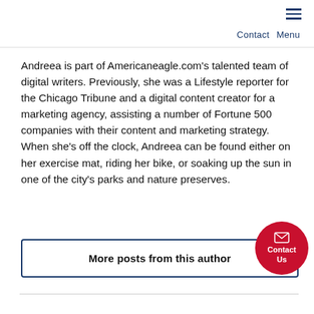Contact  Menu
Andreea is part of Americaneagle.com's talented team of digital writers. Previously, she was a Lifestyle reporter for the Chicago Tribune and a digital content creator for a marketing agency, assisting a number of Fortune 500 companies with their content and marketing strategy. When she's off the clock, Andreea can be found either on her exercise mat, riding her bike, or soaking up the sun in one of the city's parks and nature preserves.
More posts from this author